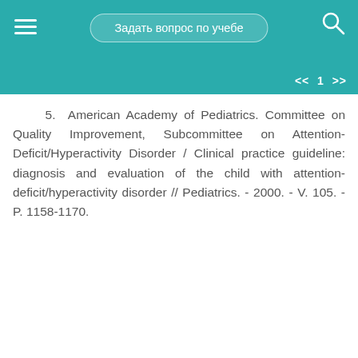Задать вопрос по учебе   << 1 >>
5. American Academy of Pediatrics. Committee on Quality Improvement, Subcommittee on Attention-Deficit/Hyperactivity Disorder / Clinical practice guideline: diagnosis and evaluation of the child with attention-deficit/hyperactivity disorder // Pediatrics. - 2000. - V. 105. - P. 1158-1170.